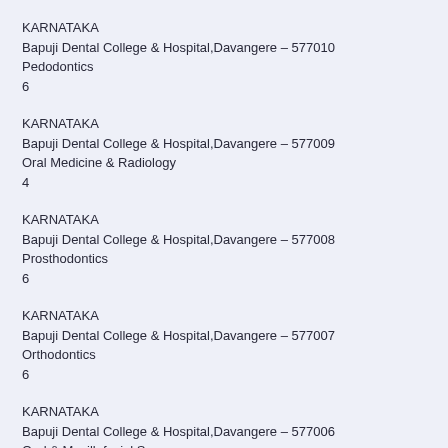KARNATAKA
Bapuji Dental College & Hospital,Davangere – 577010
Pedodontics
6
KARNATAKA
Bapuji Dental College & Hospital,Davangere – 577009
Oral Medicine & Radiology
4
KARNATAKA
Bapuji Dental College & Hospital,Davangere – 577008
Prosthodontics
6
KARNATAKA
Bapuji Dental College & Hospital,Davangere – 577007
Orthodontics
6
KARNATAKA
Bapuji Dental College & Hospital,Davangere – 577006
Oral & Maxillofacial Surgery
6
KARNATAKA
Bapuji Dental College & Hospital,Davangere – 577005
Conservative Dentistry
6